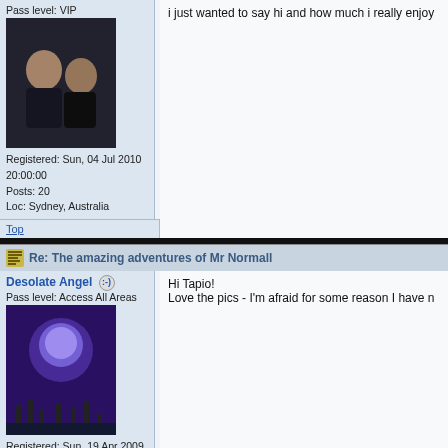Pass level: VIP
[Figure (photo): User avatar photo showing two people]
Registered: Sun, 04 Jul 2010 20:00:00
Posts: 20
Loc: Sydney, Australia
Top
i just wanted to say hi and how much i really enjoy
Re: The amazing adventures of Mr Normall
Desolate Angel
Pass level: Access All Areas
[Figure (photo): User avatar showing purple night sky with moon and silhouettes]
Registered: Sun, 19 Apr 2009 20:00:00
Posts: 1168
Loc: North of Eden heading South.......
Top
Hi Tapio!
Love the pics - I'm afraid for some reason I have n
Re: The amazing adventures of Mr Normall
Desolate Angel
Hi Tapio!